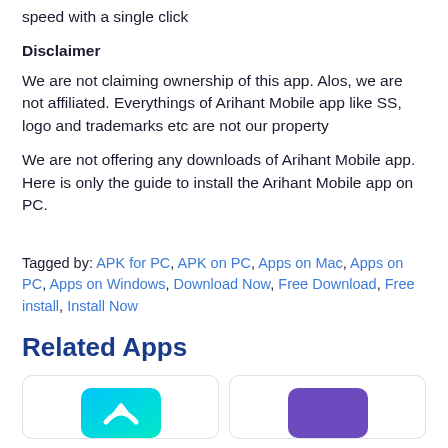speed with a single click
Disclaimer
We are not claiming ownership of this app. Alos, we are not affiliated. Everythings of Arihant Mobile app like SS, logo and trademarks etc are not our property
We are not offering any downloads of Arihant Mobile app. Here is only the guide to install the Arihant Mobile app on PC.
Tagged by: APK for PC, APK on PC, Apps on Mac, Apps on PC, Apps on Windows, Download Now, Free Download, Free install, Install Now
Related Apps
[Figure (other): Two app icon cards partially visible at the bottom of the page — one with a teal/cyan gradient icon and one with a purple background.]